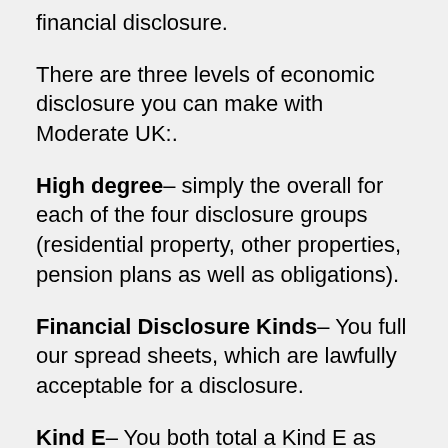financial disclosure.
There are three levels of economic disclosure you can make with Moderate UK:.
High degree– simply the overall for each of the four disclosure groups (residential property, other properties, pension plans as well as obligations).
Financial Disclosure Kinds– You full our spread sheets, which are lawfully acceptable for a disclosure.
Kind E– You both total a Kind E as well as sign them off as precise. This is the kind you would complete if you were to go to court.
The disclosure is exchanged between you both